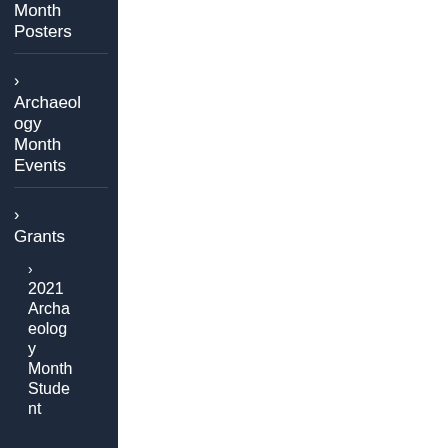Month Posters
› Archaeology Month Events
› Grants
› 2021 Archaeology Month Student